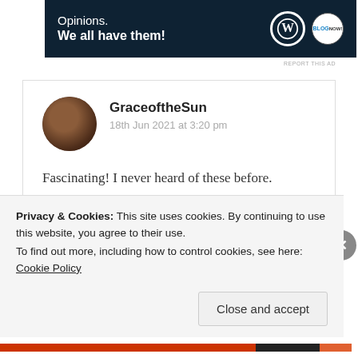[Figure (other): WordPress advertisement banner: dark navy background, text 'Opinions. We all have them!' in white with WordPress and blog logo icons]
REPORT THIS AD
GraceoftheSun
18th Jun 2021 at 3:20 pm

Fascinating! I never heard of these before. Curious on taste. Great post my friend. ❤

★ Liked by 2 people
Privacy & Cookies: This site uses cookies. By continuing to use this website, you agree to their use.
To find out more, including how to control cookies, see here: Cookie Policy

Close and accept